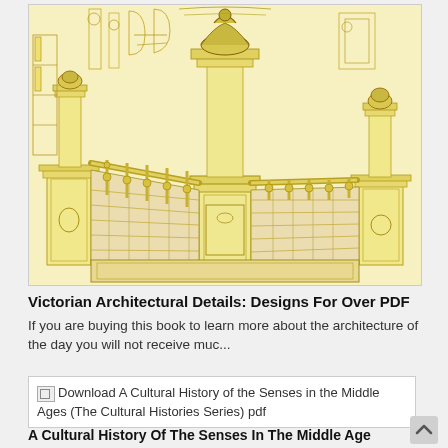[Figure (illustration): Victorian architectural staircase detail drawing on yellow/cream background showing ornate newel posts, balusters, handrail, and decorative paneling in a technical illustration style]
Victorian Architectural Details: Designs For Over PDF
If you are buying this book to learn more about the architecture of the day you will not receive muc...
[Figure (screenshot): Link card with broken image icon and text: Download A Cultural History of the Senses in the Middle Ages (The Cultural Histories Series) pdf]
A Cultural History Of The Senses In The Middle Age